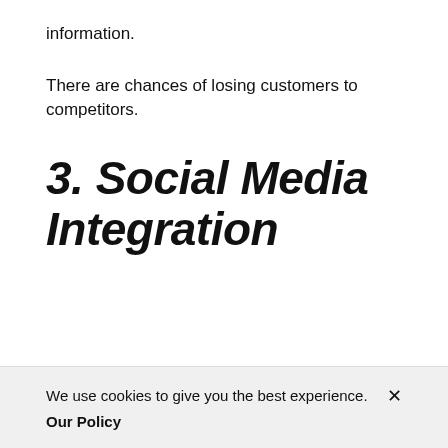information.
There are chances of losing customers to competitors.
3. Social Media Integration
We use cookies to give you the best experience. Our Policy